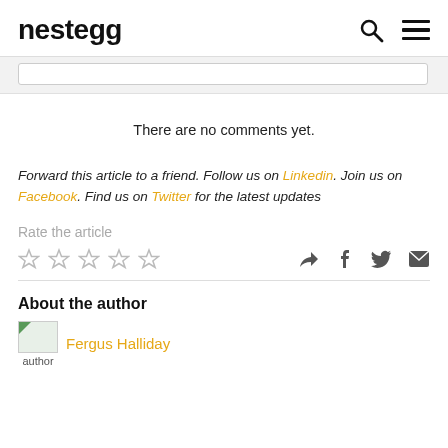nestegg
There are no comments yet.
Forward this article to a friend. Follow us on Linkedin. Join us on Facebook. Find us on Twitter for the latest updates
Rate the article
About the author
author Fergus Halliday